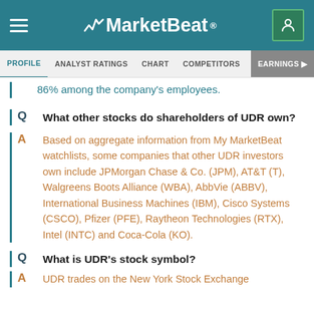MarketBeat
PROFILE | ANALYST RATINGS | CHART | COMPETITORS | DIVIDEND | EARNINGS
86% among the company's employees.
Q  What other stocks do shareholders of UDR own?
A  Based on aggregate information from My MarketBeat watchlists, some companies that other UDR investors own include JPMorgan Chase & Co. (JPM), AT&T (T), Walgreens Boots Alliance (WBA), AbbVie (ABBV), International Business Machines (IBM), Cisco Systems (CSCO), Pfizer (PFE), Raytheon Technologies (RTX), Intel (INTC) and Coca-Cola (KO).
Q  What is UDR's stock symbol?
A  UDR trades on the New York Stock Exchange